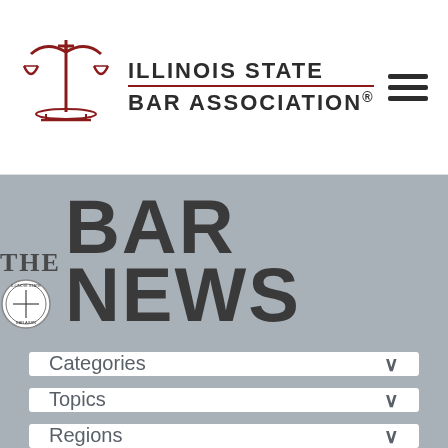[Figure (logo): Illinois State Bar Association logo with scales of justice graphic and ISBA name, plus hamburger menu icon]
THE BAR NEWS
Categories
Topics
Regions